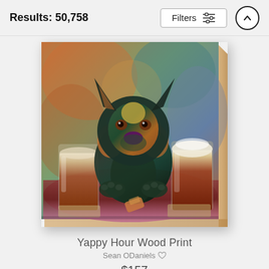Results: 50,758
[Figure (photo): A colorful pop-art style painting on wood of a dog (resembling a Doberman or German Shepherd mix) sitting at a bar table with two pint glasses of dark beer and a dog treat/biscuit. The dog has expressive eyes and vibrant multicolored fur tones with an energetic background.]
Yappy Hour Wood Print
Sean ODaniels
$157